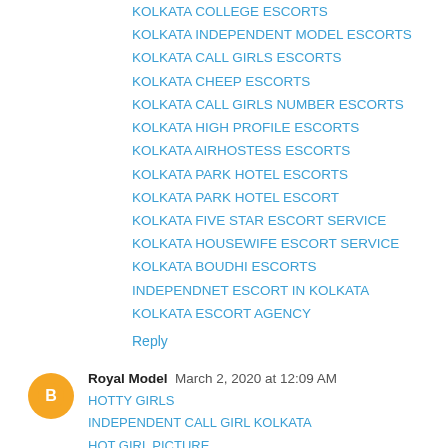KOLKATA COLLEGE ESCORTS
KOLKATA INDEPENDENT MODEL ESCORTS
KOLKATA CALL GIRLS ESCORTS
KOLKATA CHEEP ESCORTS
KOLKATA CALL GIRLS NUMBER ESCORTS
KOLKATA HIGH PROFILE ESCORTS
KOLKATA AIRHOSTESS ESCORTS
KOLKATA PARK HOTEL ESCORTS
KOLKATA PARK HOTEL ESCORT
KOLKATA FIVE STAR ESCORT SERVICE
KOLKATA HOUSEWIFE ESCORT SERVICE
KOLKATA BOUDHI ESCORTS
INDEPENDNET ESCORT IN KOLKATA
KOLKATA ESCORT AGENCY
Reply
Royal Model  March 2, 2020 at 12:09 AM
HOTTY GIRLS
INDEPENDENT CALL GIRL KOLKATA
HOT GIRL PICTURE
BEAUTIFUL CHICKS